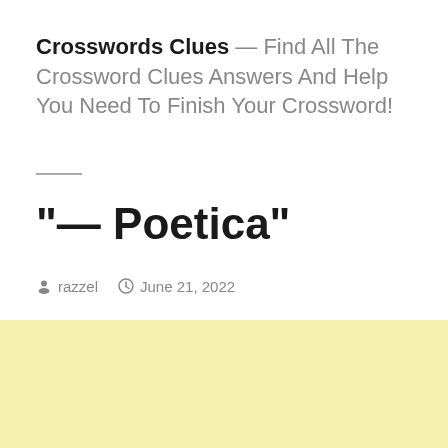Crosswords Clues — Find All The Crossword Clues Answers And Help You Need To Finish Your Crossword!
"— Poetica"
razzel   June 21, 2022